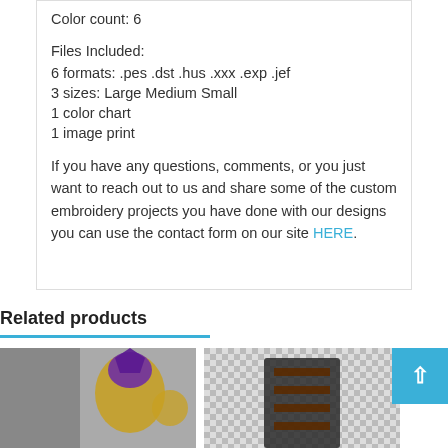Color count: 6
Files Included:
6 formats: .pes .dst .hus .xxx .exp .jef
3 sizes: Large Medium Small
1 color chart
1 image print
If you have any questions, comments, or you just want to reach out to us and share some of the custom embroidery projects you have done with our designs you can use the contact form on our site HERE.
Related products
[Figure (photo): Two product images side by side: left shows a fantasy character in golden armor with a purple hat, right shows a dark leather outfit with straps and buckles on a checkered background.]